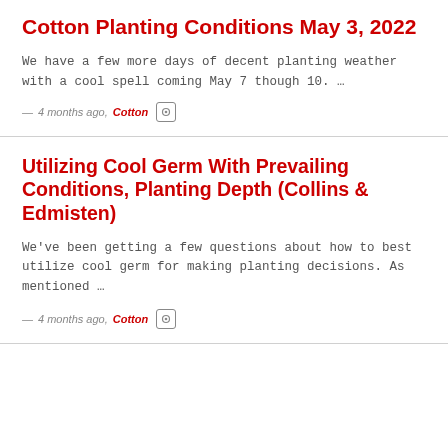Cotton Planting Conditions May 3, 2022
We have a few more days of decent planting weather with a cool spell coming May 7 though 10. …
— 4 months ago, Cotton
Utilizing Cool Germ With Prevailing Conditions, Planting Depth (Collins & Edmisten)
We've been getting a few questions about how to best utilize cool germ for making planting decisions. As mentioned …
— 4 months ago, Cotton